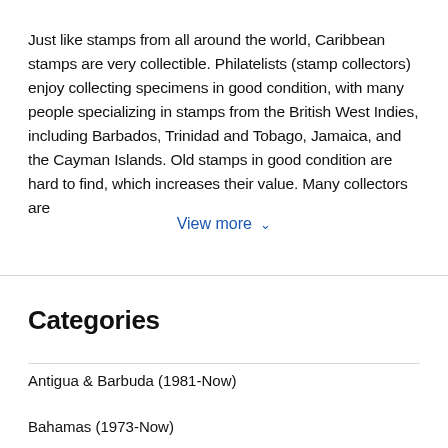Just like stamps from all around the world, Caribbean stamps are very collectible. Philatelists (stamp collectors) enjoy collecting specimens in good condition, with many people specializing in stamps from the British West Indies, including Barbados, Trinidad and Tobago, Jamaica, and the Cayman Islands. Old stamps in good condition are hard to find, which increases their value. Many collectors are
View more ∨
Categories
Antigua & Barbuda (1981-Now)
Bahamas (1973-Now)